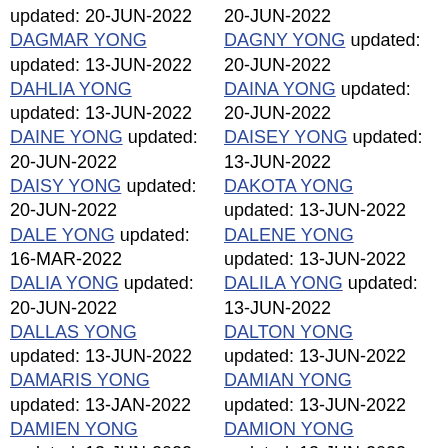updated: 20-JUN-2022 DAGMAR YONG updated: 13-JUN-2022 DAHLIA YONG updated: 13-JUN-2022 DAINE YONG updated: 20-JUN-2022 DAISY YONG updated: 20-JUN-2022 DALE YONG updated: 16-MAR-2022 DALIA YONG updated: 20-JUN-2022 DALLAS YONG updated: 13-JUN-2022 DAMARIS YONG updated: 13-JAN-2022 DAMIEN YONG updated: 13-JUN-2022 DAMON YONG
20-JUN-2022 DAGNY YONG updated: 20-JUN-2022 DAINA YONG updated: 20-JUN-2022 DAISEY YONG updated: 13-JUN-2022 DAKOTA YONG updated: 13-JUN-2022 DALENE YONG updated: 13-JUN-2022 DALILA YONG updated: 13-JUN-2022 DALTON YONG updated: 13-JUN-2022 DAMIAN YONG updated: 13-JUN-2022 DAMION YONG updated: 13-JUN-2022 DAN YONG updated: